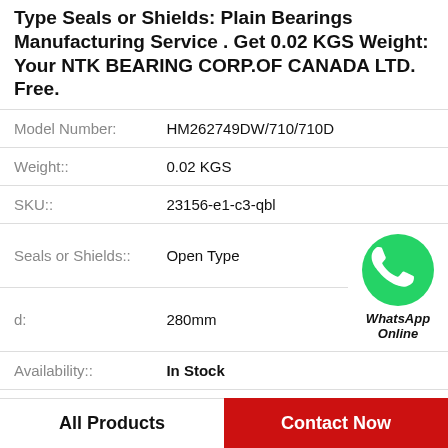Type Seals or Shields: Plain Bearings Manufacturing Service . Get 0.02 KGS Weight: Your NTK BEARING CORP.OF CANADA LTD. Free.
| Field | Value |
| --- | --- |
| Model Number: | HM262749DW/710/710D |
| Weight:: | 0.02 KGS |
| SKU:: | 23156-e1-c3-qbl |
| Seals or Shields:: | Open Type |
| d: | 280mm |
| Availability:: | In Stock |
| Cage Type:: | Steel |
| Clearance:: | C3 |
[Figure (logo): WhatsApp Online green phone icon with text 'WhatsApp Online']
All Products
Contact Now